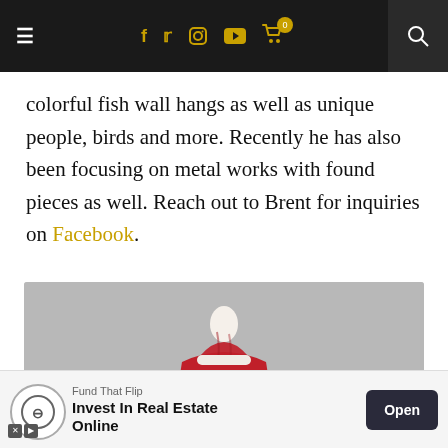Navigation bar with menu, social icons (Facebook, Twitter, Instagram, YouTube, cart), and search
colorful fish wall hangs as well as unique people, birds and more. Recently he has also been focusing on metal works with found pieces as well. Reach out to Brent for inquiries on Facebook.
[Figure (photo): Photo of a ceramic or clay Santa Claus figurine in red and white against a light gray background, viewed from a low angle looking upward]
Fund That Flip — Invest In Real Estate Online — Open